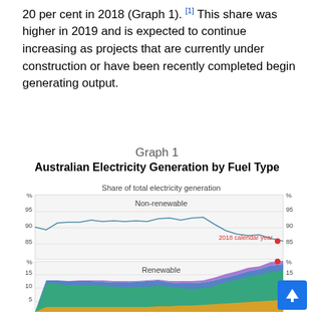20 per cent in 2018 (Graph 1). [1] This share was higher in 2019 and is expected to continue increasing as projects that are currently under construction or have been recently completed begin generating output.
Graph 1
[Figure (area-chart): Two-panel area/line chart showing Australian electricity generation by fuel type. Top panel: Non-renewable share line, ranging approximately 80-92% with a declining trend from around 90% to ~82% by 2018. Bottom panel: Renewable share stacked area chart showing growth from about 10% to 17%, with coloured areas for different renewable types (blue, green, yellow, purple). A red dot marks 2018 calendar year at approximately 80% non-renewable / 20% renewable.]